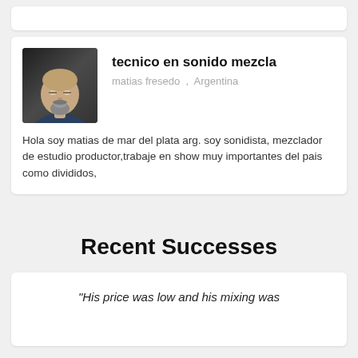[Figure (photo): Profile photo of a man with a goatee, bald head, wearing a dark jacket, against a dark background]
tecnico en sonido mezcla
matias fresedo  ,  Argentina
Hola soy matias de mar del plata arg. soy sonidista, mezclador de estudio productor,trabaje en show muy importantes del pais como divididos,
Recent Successes
"His price was low and his mixing was